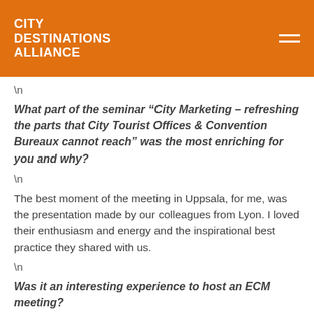CITY DESTINATIONS ALLIANCE
\n
What part of the seminar “City Marketing – refreshing the parts that City Tourist Offices & Convention Bureaux cannot reach” was the most enriching for you and why?
\n
The best moment of the meeting in Uppsala, for me, was the presentation made by our colleagues from Lyon. I loved their enthusiasm and energy and the inspirational best practice they shared with us.
\n
Was it an interesting experience to host an ECM meeting?